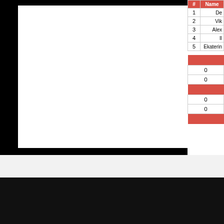[Figure (other): Game board area (Gomoku/Go board) shown as white rectangle with black border on black background]
| # | Name |
| --- | --- |
| 1 | De... |
| 2 | Vik... |
| 3 | Alex... |
| 4 | Il... |
| 5 | Ekaterin... |
| Score |
| --- |
| 0 |
| 0 |
|  |
| 0 |
| 0 |
|  |
GOMOKU
TOURNAMENTS